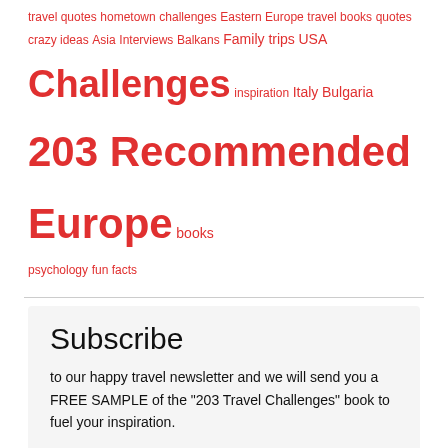travel quotes hometown challenges Eastern Europe travel books quotes crazy ideas Asia Interviews Balkans Family trips USA Challenges inspiration Italy Bulgaria 203 Recommended Europe books psychology fun facts
Subscribe
to our happy travel newsletter and we will send you a FREE SAMPLE of the "203 Travel Challenges" book to fuel your inspiration.
© 2018-2022 * 203 Challenges * All rights reserved. Website & SEO by Reshenia.com | About us